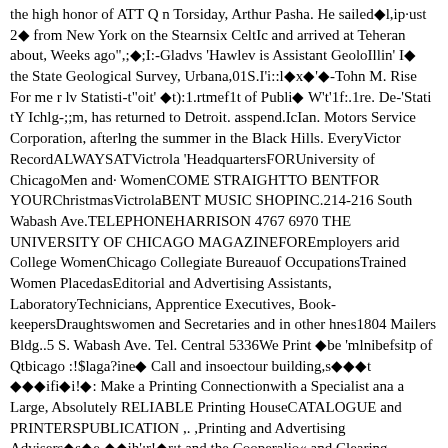the high honor of ATT Q n Torsiday, Arthur Pasha. He sailed�l,ip·ust 2� from New York on the Stearnsix CeltIc and arrived at Teheran about, Weeks ago",;�;I:-Gladvs 'Hawlev is Assistant GeoloIllin' I� the State Geological Survey, Urbana,01S.I'i::l�x�'�-Tohn M. Rise For me r lv Statisti-t"oit' �t):1.rtmef1t of Publi� W't'1f:.1re. De-'Stati tY Ichlg-;;m, has returned to Detroit. asspend.IcIan. Motors Service Corporation, afterlng the summer in the Black Hills. EveryVictor RecordALWAYSATVictrola 'HeadquartersFORUniversity of ChicagoMen and· WomenCOME STRAIGHTTO BENTFOR YOURChristmasVictrolaBENT MUSIC SHOPINC.214-216 South Wabash Ave.TELEPHONEHARRISON 4767 6970 THE UNIVERSITY OF CHICAGO MAGAZINEFOREmployers arid College WomenChicago Collegiate Bureauof OccupationsTrained Women PlacedasEditorial and Advertising Assistants, LaboratoryTechnicians, Apprentice Executives, Book-keepersDraughtswomen and Secretaries and in other hnes1804 Mailers Bldg..5 S. Wabash Ave. Tel. Central 5336We Print �be 'mlnibefsitp of Qtbicago :!$laga?ine� Call and insoectour building,s���t ���ifi�i!�: Make a Printing Connectionwith a Specialist ana a Large, Absolutely RELIABLE Printing HouseCATALOGUE and PRINTERSPUBLICATION ,. ,Printing and Advertising Advisers�s�e ��jh':r!�r:t and the Cooperalio« and Clearing Housecomplete Print- for Catalogues and Publications\:'l�if!�n�l!'t��� Let us estimate on your